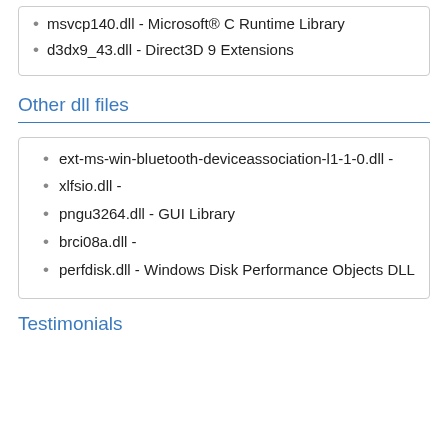msvcp140.dll - Microsoft® C Runtime Library
d3dx9_43.dll - Direct3D 9 Extensions
Other dll files
ext-ms-win-bluetooth-deviceassociation-l1-1-0.dll -
xlfsio.dll -
pngu3264.dll - GUI Library
brci08a.dll -
perfdisk.dll - Windows Disk Performance Objects DLL
Testimonials